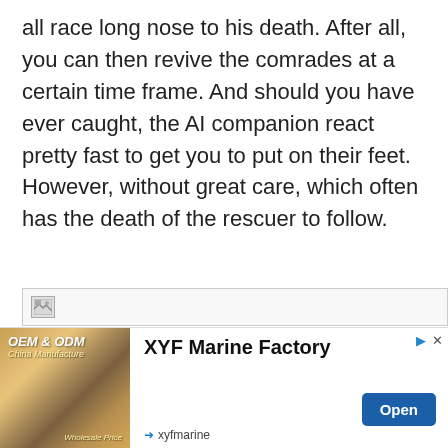all race long nose to his death. After all, you can then revive the comrades at a certain time frame. And should you have ever caught, the AI companion react pretty fast to get you to put on their feet. However, without great care, which often has the death of the rescuer to follow.
[Figure (other): Broken image placeholder bar with small broken image icon]
[Figure (screenshot): Chevron/dropdown button UI element]
[Figure (other): Advertisement banner for XYF Marine Factory (OEM & ODM, China Manufacture, Wholesale Price) with an Open button and xyfmarine domain label]